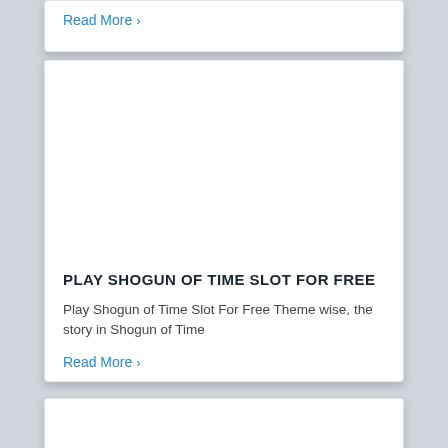Read More ›
PLAY SHOGUN OF TIME SLOT FOR FREE
Play Shogun of Time Slot For Free Theme wise, the story in Shogun of Time
Read More ›